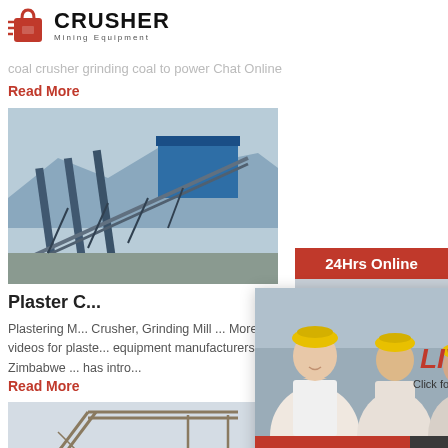[Figure (logo): Crusher Mining Equipment logo with red shopping bag icon and bold CRUSHER text]
coal crusher grinding coal to power Chat Online ...
Read More
[Figure (photo): Mining conveyor belt equipment with blue industrial structures on hillside]
Plaster C...
Plastering M... Crusher, Grinding Mill ... More videos for plaster equipment manufacturers Zimbabwe ... has intro...
Read More
[Figure (photo): Mining conveyor belt structure in snowy/dusty landscape]
[Figure (photo): Live chat popup with workers in hard hats, LIVE CHAT text, Click for a Free Consultation, Chat now and Chat later buttons]
[Figure (photo): Customer service representative with headset, 24Hrs Online header, Need questions & suggestion section with Chat Now button, Enquiry section, limingjlmofen@sina.com email]